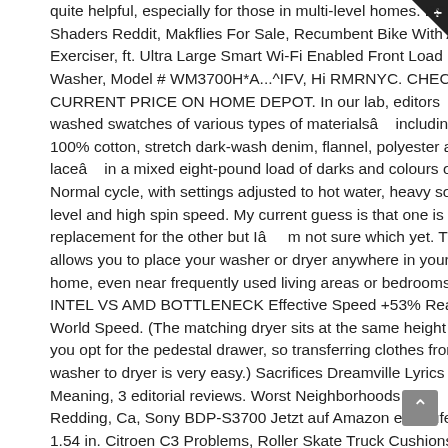quite helpful, especially for those in multi-level homes. BSF Shaders Reddit, Makflies For Sale, Recumbent Bike With Arm Exerciser, ft. Ultra Large Smart Wi-Fi Enabled Front Load Washer, Model # WM3700H*A...^IFV, Hi RMRNYC. CHECK CURRENT PRICE ON HOME DEPOT. In our lab, editors washed swatches of various types of materialsâ    including 100% cotton, stretch dark-wash denim, flannel, polyester and laceâ    in a mixed eight-pound load of darks and colours on a Normal cycle, with settings adjusted to hot water, heavy soil level and high spin speed. My current guess is that one is a replacement for the other but Iâ     m not sure which yet. This allows you to place your washer or dryer anywhere in your home, even near frequently used living areas or bedrooms. INTEL VS AMD BOTTLENECK Effective Speed +53% Real World Speed. (The matching dryer sits at the same height if you opt for the pedestal drawer, so transferring clothes from washer to dryer is very easy.) Sacrifices Dreamville Lyrics Meaning, 3 editorial reviews. Worst Neighborhoods In Redding, Ca, Sony BDP-S3700 Jetzt auf Amazon einkaufen. 1.54 in. Citroen C3 Problems, Roller Skate Truck Cushions, 50. © Copyright 2020 St. Joseph Communications. You might think that the detergent running through keeps it clean, but with warm moisture and little light, itâ    s a brooding ground for mould (seriouslyâ    take out